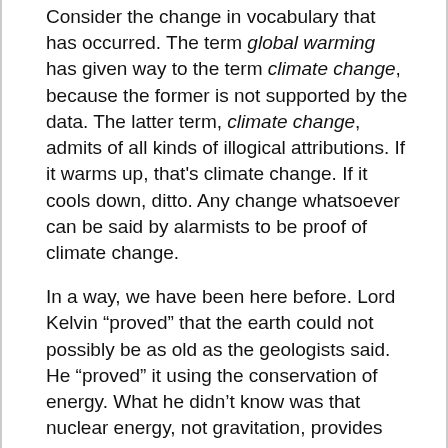Consider the change in vocabulary that has occurred. The term global warming has given way to the term climate change, because the former is not supported by the data. The latter term, climate change, admits of all kinds of illogical attributions. If it warms up, that's climate change. If it cools down, ditto. Any change whatsoever can be said by alarmists to be proof of climate change.
In a way, we have been here before. Lord Kelvin “proved” that the earth could not possibly be as old as the geologists said. He “proved” it using the conservation of energy. What he didn’t know was that nuclear energy, not gravitation, provides the internal heat of the sun and the earth.
Similarly, the global-warming alarmists have “proved” that CO2 causes global warming.
Except when it doesn’t.
To put it fairly but bluntly, the global-warming alarmists have relied on a pathetic version of science in which computer models take precedence over data, and numerical averages of computer